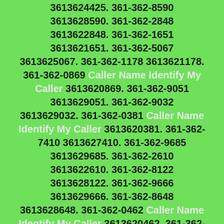3613624425. 361-362-8590 3613628590. 361-362-2848 3613622848. 361-362-1651 3613621651. 361-362-5067 3613625067. 361-362-1178 3613621178. 361-362-0869 Caller Name Identify My Caller 3613620869. 361-362-9051 3613629051. 361-362-9032 3613629032. 361-362-0381 Caller Name Identify My Caller 3613620381. 361-362-7410 3613627410. 361-362-9685 3613629685. 361-362-2610 3613622610. 361-362-8122 3613628122. 361-362-9666 3613629666. 361-362-8648 3613628648. 361-362-0462 Caller Name Identify My Caller 3613620462. 361-362-9035 3613629035. 361-362-4429 3613624429. 361-362-0887 Caller Name Identify My Caller 3613620887. 361-362-3791 3613623791. 361-362-8021 3613628021. 361-362-5250 3613625250. 361-362-1433 3613621433. 361-362-6785 3613626785. 361-362-8853